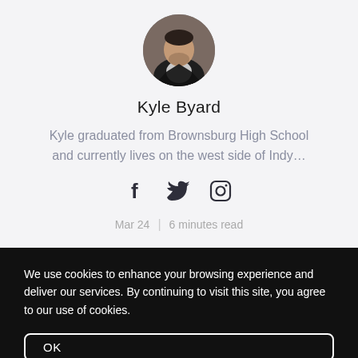[Figure (photo): Circular profile photo of Kyle Byard, a man in a dark jacket]
Kyle Byard
Kyle graduated from Brownsburg High School and currently lives on the west side of Indy…
[Figure (infographic): Social media icons: Facebook, Twitter, Instagram]
Mar 24  |  6 minutes read
We use cookies to enhance your browsing experience and deliver our services. By continuing to visit this site, you agree to our use of cookies.
OK